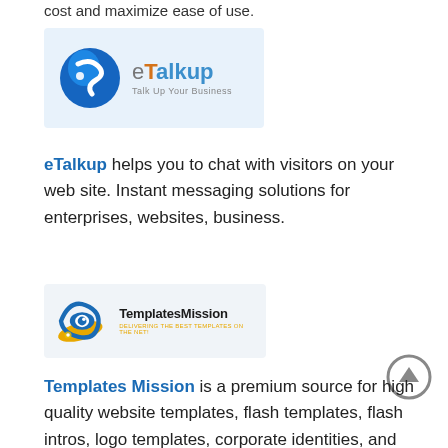cost and maximize ease of use.
[Figure (logo): eTalkup logo with blue globe icon and tagline 'Talk Up Your Business' on light blue background]
eTalkup helps you to chat with visitors on your web site. Instant messaging solutions for enterprises, websites, business.
[Figure (logo): TemplatesMission logo with eye-shaped swoosh icon and tagline 'Delivering the best templates on the net!']
Templates Mission is a premium source for high quality website templates, flash templates, flash intros, logo templates, corporate identities, and php-nuke themes.